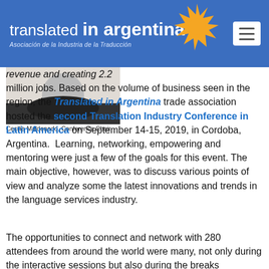translated in argentina — Asociación de la Industria de la Traducción
[Figure (photo): Portrait photo of Cecilia Maldonado, Conference Chair]
Cecilia Maldonado, Conference Chair
revenue and creating 2.2 million jobs. Based on the volume of business seen in the region, the Translated in Argentina trade association hosted the second Translation Industry Conference in Latin America on September 14-15, 2019, in Cordoba, Argentina. Learning, networking, empowering and mentoring were just a few of the goals for this event. The main objective, however, was to discuss various points of view and analyze some the latest innovations and trends in the language services industry.
The opportunities to connect and network with 280 attendees from around the world were many, not only during the interactive sessions but also during the breaks